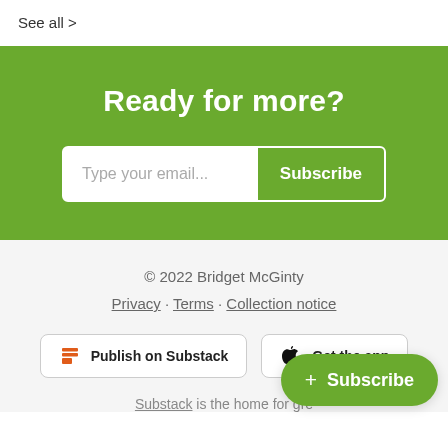See all >
Ready for more?
Type your email... Subscribe
© 2022 Bridget McGinty
Privacy · Terms · Collection notice
Publish on Substack
Get the app
Substack is the home for gre...
+ Subscribe